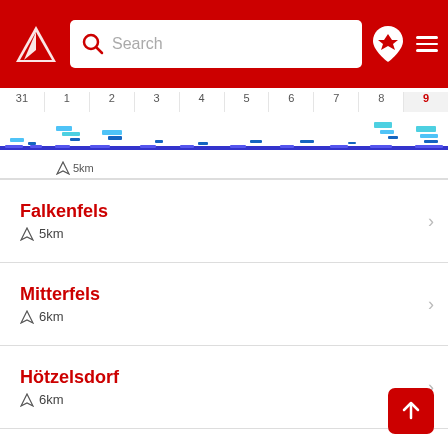Search bar with logo and navigation icons
[Figure (other): Timeline/calendar strip showing days 31, 1-9 with snow/skiing activity bars. Blue line chart running across the strip. Day 9 highlighted in red.]
5km
Falkenfels – 5km
Mitterfels – 6km
Hötzelsdorf – 6km
Sommerberg – 6km